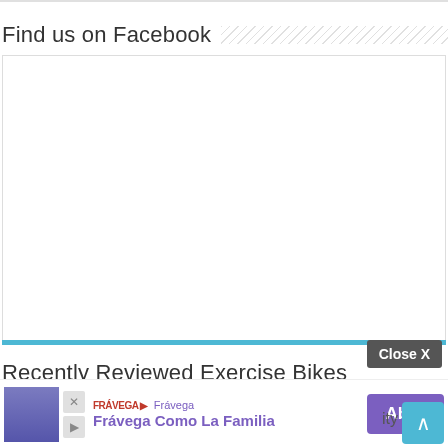Find us on Facebook
[Figure (other): Empty white box with blue bottom border representing an unloaded Facebook widget]
Recently Reviewed Exercise Bikes
[Figure (other): Close X button overlay]
[Figure (other): Frávega ad banner: Frávega Como La Familia with Abrir button and scroll-to-top button]